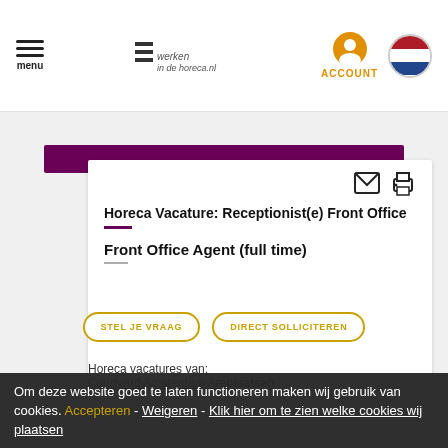menu | Werken in de Horeca.nl | ACCOUNT
[Figure (screenshot): Purple banner bar at top of job listing card]
Horeca Vacature: Receptionist(e) Front Office
Front Office Agent (full time)
STEL JE VRAAG | DIRECT SOLLICITEREN
Om deze website goed te laten functioneren maken wij gebruik van cookies. Accepteren - Weigeren - Klik hier om te zien welke cookies wij plaatsen
Horeca vacatures van:
Courtyard Amsterdam Arena plaatsen